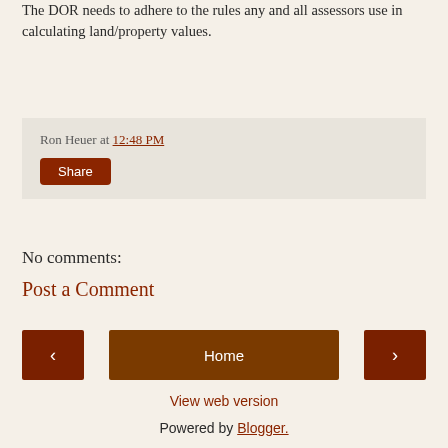The DOR needs to adhere to the rules any and all assessors use in calculating land/property values.
Ron Heuer at 12:48 PM
Share
No comments:
Post a Comment
< Home >
View web version
Powered by Blogger.